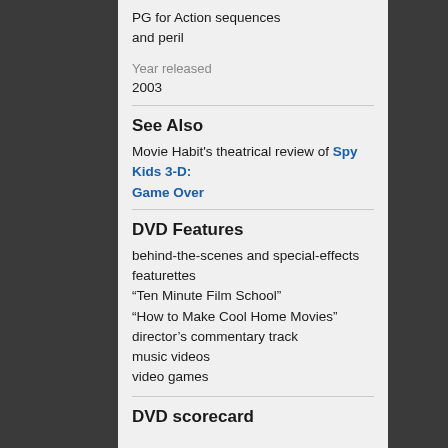PG for Action sequences and peril
Year released
2003
See Also
Movie Habit's theatrical review of Spy Kids 3-D: Game Over
DVD Features
behind-the-scenes and special-effects featurettes
“Ten Minute Film School”
“How to Make Cool Home Movies”
director’s commentary track
music videos
video games
DVD scorecard